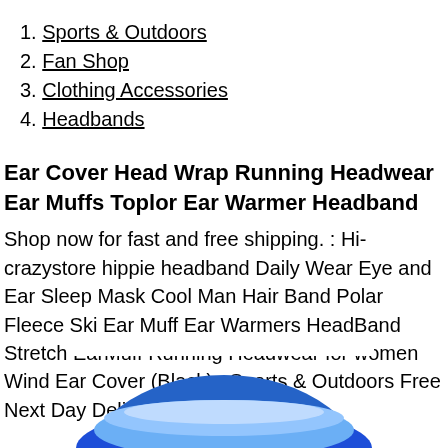1. Sports & Outdoors
2. Fan Shop
3. Clothing Accessories
4. Headbands
Ear Cover Head Wrap Running Headwear Ear Muffs Toplor Ear Warmer Headband
Shop now for fast and free shipping. : Hi-crazystore hippie headband Daily Wear Eye and Ear Sleep Mask Cool Man Hair Band Polar Fleece Ski Ear Muff Ear Warmers HeadBand Stretch EarMuff Running Headwear for women Wind Ear Cover (Black) : Sports & Outdoors Free Next Day Delivery
[Figure (photo): Partial view of a blue and white ear warmer headband product photo, cropped at bottom of page]